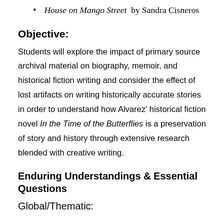House on Mango Street by Sandra Cisneros
Objective:
Students will explore the impact of primary source archival material on biography, memoir, and historical fiction writing and consider the effect of lost artifacts on writing historically accurate stories in order to understand how Alvarez' historical fiction novel In the Time of the Butterflies is a preservation of story and history through extensive research blended with creative writing.
Enduring Understandings & Essential Questions
Global/Thematic: